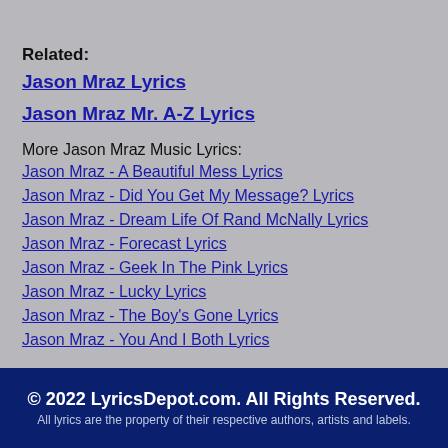Related:
Jason Mraz Lyrics
Jason Mraz Mr. A-Z Lyrics
More Jason Mraz Music Lyrics:
Jason Mraz - A Beautiful Mess Lyrics
Jason Mraz - Did You Get My Message? Lyrics
Jason Mraz - Dream Life Of Rand McNally Lyrics
Jason Mraz - Forecast Lyrics
Jason Mraz - Geek In The Pink Lyrics
Jason Mraz - Lucky Lyrics
Jason Mraz - The Boy's Gone Lyrics
Jason Mraz - You And I Both Lyrics
© 2022 LyricsDepot.com. All Rights Reserved. All lyrics are the property of their respective authors, artists and labels.